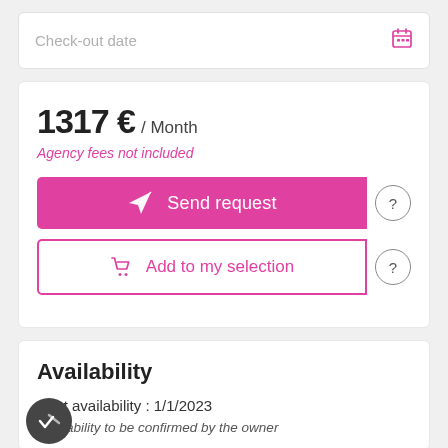Check-out date
1317 € / Month
Agency fees not included
Send request
Add to my selection
Availability
Next availability : 1/1/2023
Availability to be confirmed by the owner